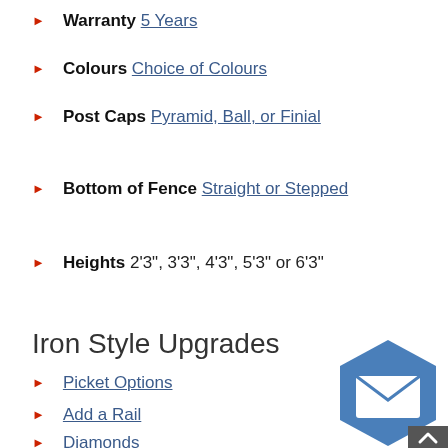Warranty 5 Years
Colours Choice of Colours
Post Caps Pyramid, Ball, or Finial
Bottom of Fence Straight or Stepped
Heights 2'3", 3'3", 4'3", 5'3" or 6'3"
Iron Style Upgrades
Picket Options
Add a Rail
Diamonds